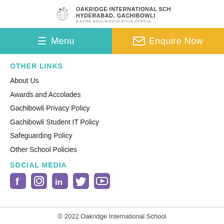[Figure (logo): Oakridge International School logo with colorful network/globe icon and school name text]
OTHER LINKS
About Us
Awards and Accolades
Gachibowli Privacy Policy
Gachibowli Student IT Policy
Safeguarding Policy
Other School Policies
SOCIAL MEDIA
[Figure (illustration): Social media icons: Facebook, Instagram, LinkedIn, Twitter, YouTube - purple colored]
© 2022 Oakridge International School